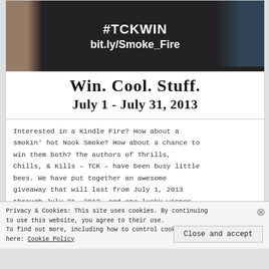[Figure (photo): Promotional banner image with dark background showing #TCKWIN and bit.ly/Smoke_Fire text, with a person's arm and a tablet device visible]
Win. Cool. Stuff.
July 1 - July 31, 2013
Interested in a Kindle Fire? How about a smokin' hot Nook Smoke? How about a chance to win them both? The authors of Thrills, Chills, & Kills – TCK – have been busy little bees. We have put together an awesome giveaway that will last from July 1, 2013 through July 31, 2013, and one lucky winner will win big!!!
Privacy & Cookies: This site uses cookies. By continuing to use this website, you agree to their use.
To find out more, including how to control cookies, see here: Cookie Policy
Close and accept